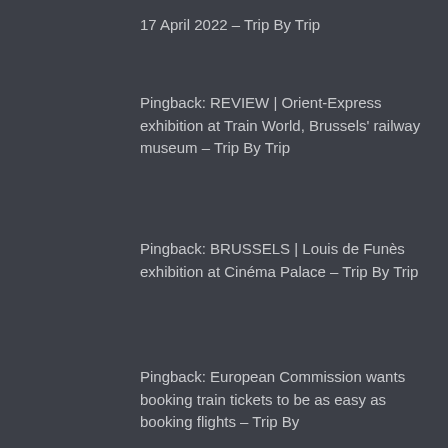17 April 2022 – Trip By Trip
Pingback: REVIEW | Orient-Express exhibition at Train World, Brussels' railway museum – Trip By Trip
Pingback: BRUSSELS | Louis de Funès exhibition at Cinéma Palace – Trip By Trip
Pingback: European Commission wants booking train tickets to be as easy as booking flights – Trip By